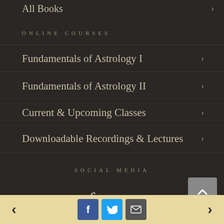All Books ›
ONLINE COURSES
Fundamentals of Astrology I ›
Fundamentals of Astrology II ›
Current & Upcoming Classes ›
Downloadable Recordings & Lectures ›
SOCIAL MEDIA
< f i >